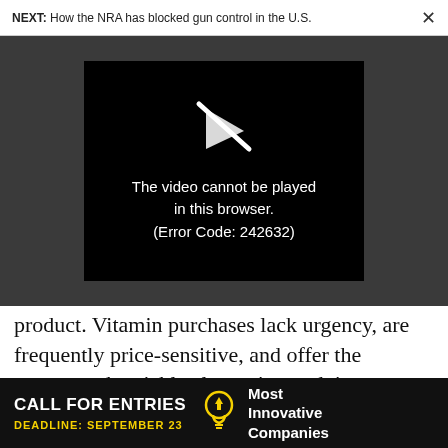NEXT: How the NRA has blocked gun control in the U.S.  ×
[Figure (screenshot): Black video player box showing a broken/slashed play icon and the error message: 'The video cannot be played in this browser. (Error Code: 242632)']
product. Vitamin purchases lack urgency, are frequently price-sensitive, and offer the customer the viable alternative to doing absolutely nothing.
It's obvious that fixing a broken furnace, diabetes
[Figure (other): Advertisement banner: CALL FOR ENTRIES DEADLINE: SEPTEMBER 23 — Most Innovative Companies]